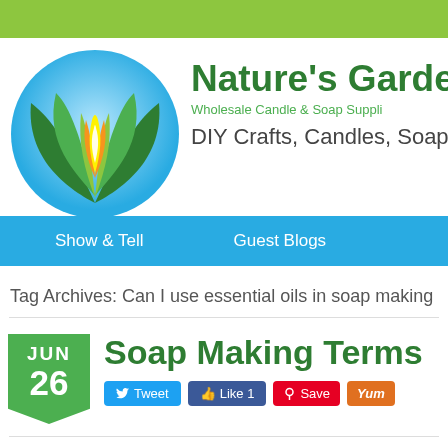[Figure (logo): Nature's Garden circular logo with green leaves and yellow flame]
Nature's Garden
Wholesale Candle & Soap Suppli...
DIY Crafts, Candles, Soap
Show & Tell   Guest Blogs
Tag Archives: Can I use essential oils in soap making
Soap Making Terms
JUN 26
Tweet  Like 1  Save  Yum